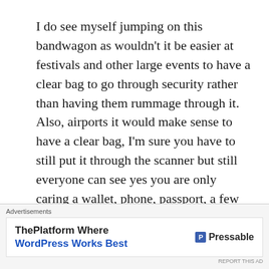I do see myself jumping on this bandwagon as wouldn't it be easier at festivals and other large events to have a clear bag to go through security rather than having them rummage through it. Also, airports it would make sense to have a clear bag, I'm sure you have to still put it through the scanner but still everyone can see yes you are only caring a wallet, phone, passport, a few makeup items and your iPad for travel.
Advertisements
ThePlatform Where WordPress Works Best  P Pressable